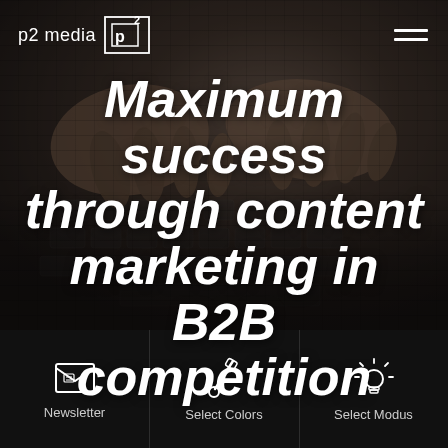p2 media
Maximum success through content marketing in B2B competition
[Figure (illustration): Background photo of hands typing on a laptop keyboard, dark-toned, partially obscured by overlay]
Newsletter
Select Colors
Select Modus